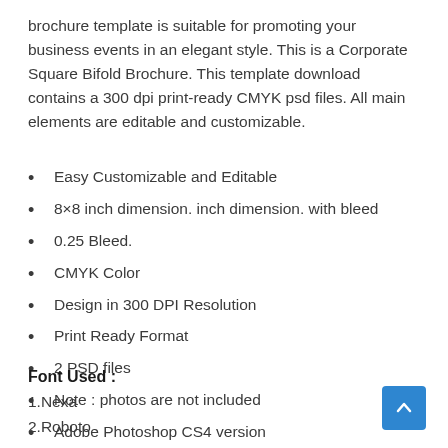brochure template is suitable for promoting your business events in an elegant style. This is a Corporate Square Bifold Brochure. This template download contains a 300 dpi print-ready CMYK psd files. All main elements are editable and customizable.
Easy Customizable and Editable
8×8 inch dimension. inch dimension. with bleed
0.25 Bleed.
CMYK Color
Design in 300 DPI Resolution
Print Ready Format
2 PSD files
Note : photos are not included
Adobe Photoshop CS4 version
Font Used :
1.Nexa
2.Roboto